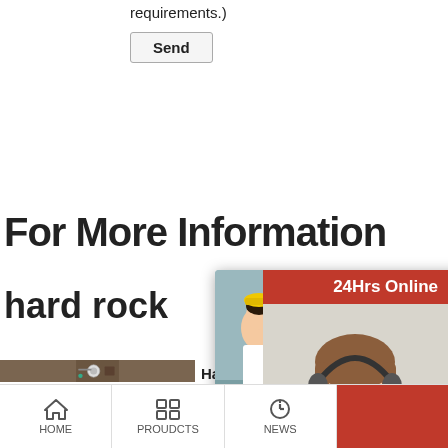requirements.)
Send
For More Information
hard rock
[Figure (screenshot): Live chat popup overlay with workers in yellow hard hats, LIVE CHAT heading in red italic, 'Click for a Free Consultation' text, close button, Chat now (red) and Chat later (grey) buttons]
[Figure (photo): Right-side panel showing a woman with a headset, '24Hrs Online' banner, 'Need questions & suggestion?' text, Chat Now button, Enquiry button, limingjlmofen button]
[Figure (photo): Product image showing hard rock mining equipment machinery]
Hard Rock Mi Equipment Cr Plants DOVE
HOME   PROUDCTS   NEWS